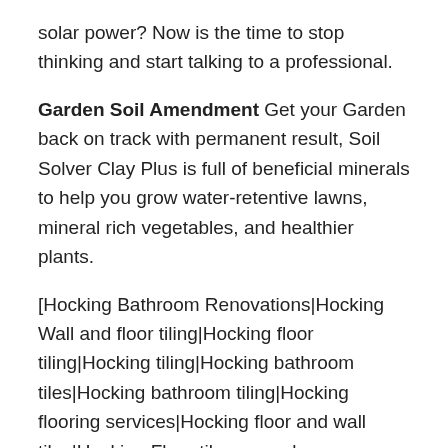solar power? Now is the time to stop thinking and start talking to a professional.
Garden Soil Amendment Get your Garden back on track with permanent result, Soil Solver Clay Plus is full of beneficial minerals to help you grow water-retentive lawns, mineral rich vegetables, and healthier plants.
[Hocking Bathroom Renovations|Hocking Wall and floor tiling|Hocking floor tiling|Hocking tiling|Hocking bathroom tiles|Hocking bathroom tiling|Hocking flooring services|Hocking floor and wall tiles|Hocking Floor tile removal services|Hocking floor and wall tiles|Hocking Floor tile removal services|Hocking Marble cladding|Hocking Kitchen splashback tiles] -